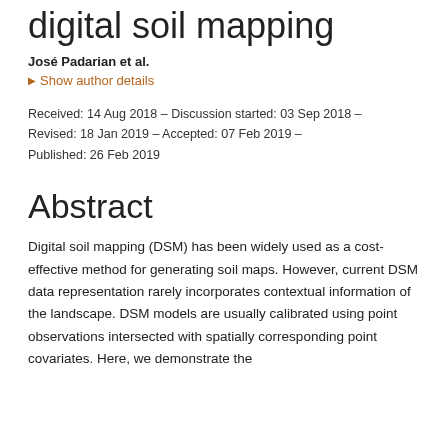digital soil mapping
José Padarian et al.
Show author details
Received: 14 Aug 2018 – Discussion started: 03 Sep 2018 – Revised: 18 Jan 2019 – Accepted: 07 Feb 2019 – Published: 26 Feb 2019
Abstract
Digital soil mapping (DSM) has been widely used as a cost-effective method for generating soil maps. However, current DSM data representation rarely incorporates contextual information of the landscape. DSM models are usually calibrated using point observations intersected with spatially corresponding point covariates. Here, we demonstrate the